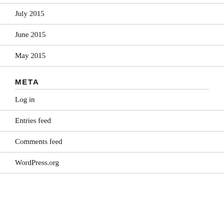July 2015
June 2015
May 2015
META
Log in
Entries feed
Comments feed
WordPress.org